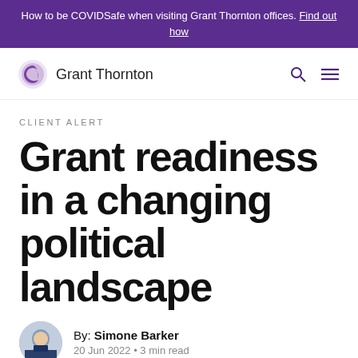How to be COVIDSafe when visiting Grant Thornton offices. Find out how
[Figure (logo): Grant Thornton logo with purple swirl icon and wordmark]
CLIENT ALERT
Grant readiness in a changing political landscape
By: Simone Barker
20 Jun 2022 • 3 min read